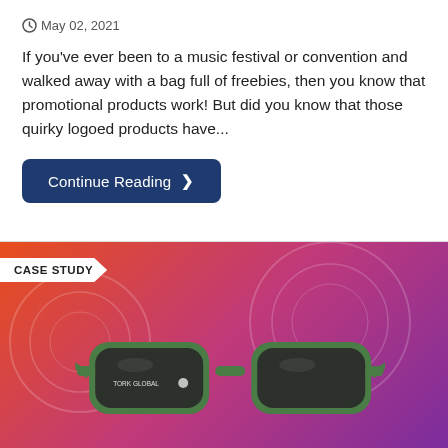May 02, 2021
If you've ever been to a music festival or convention and walked away with a bag full of freebies, then you know that promotional products work! But did you know that those quirky logoed products have...
Continue Reading >
[Figure (photo): Promotional green sunglasses branded 'TORK GLOBAL' on an orange-to-purple gradient background with a 'CASE STUDY' badge in the top-left corner.]